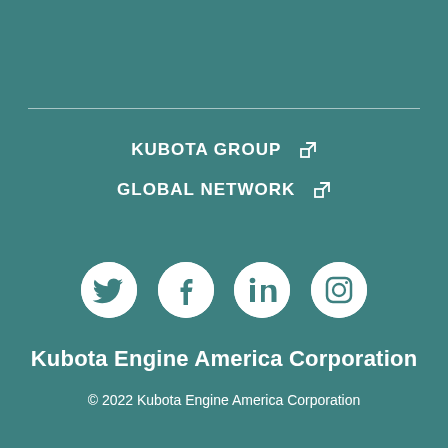KUBOTA GROUP ↗
GLOBAL NETWORK ↗
[Figure (illustration): Four social media icons in white circles on teal background: Twitter, Facebook, LinkedIn, Instagram]
Kubota Engine America Corporation
© 2022 Kubota Engine America Corporation